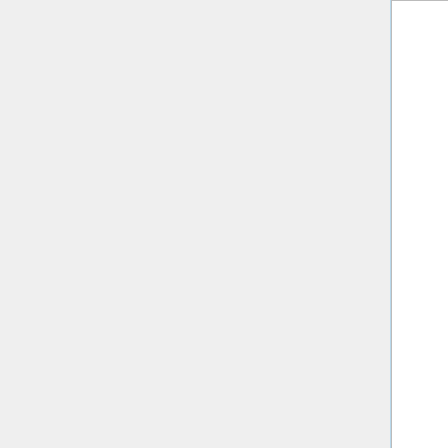exam, both from the assigned Readings column of the Schedule (excluding guest lectures).
Students can discuss problems in general terms, but must work on programming assignments alone unless explicitly allowed for that assignment. This applies to online and printed resources – you can use them as references (as long as all the code, words and source code you submit are your own). The University's policies on academic integrity are set forth in the student code of conduct.
Readings
|  |  |
| --- | --- |
| Textbook (required) | Fundamentals of Computer Graphics (4th ed.) [Marschner in calendar below] |